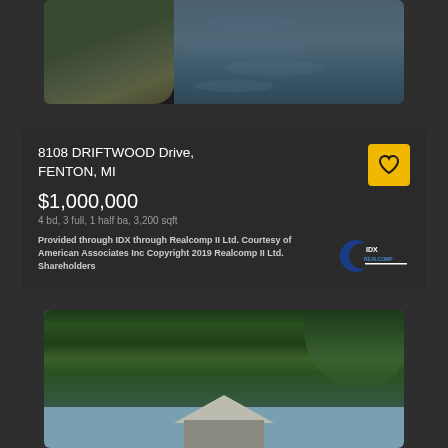[Figure (photo): Aerial or elevated view of rocky cliff with trees on left and dark blue water on right]
8108 DRIFTWOOD Drive, FENTON, MI
$1,000,000
4 bd, 3 full, 1 half ba, 3,200 sqft
Provided through IDX through Realcomp II Ltd. Courtesy of American Associates Inc Copyright 2019 Realcomp II Ltd. Shareholders
[Figure (logo): IDX Realcomp logo — crescent moon shape with IDX text]
[Figure (photo): Exterior photo of house partially obscured by tall evergreen and weeping trees with blue sky in background]